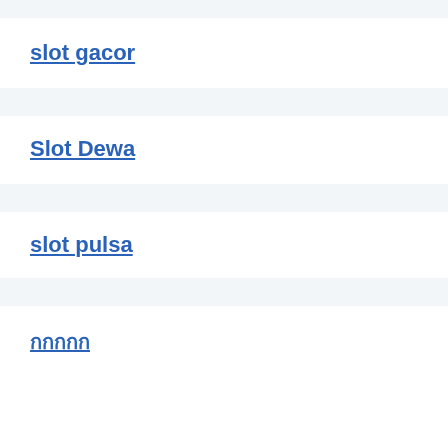slot gacor
Slot Dewa
slot pulsa
กกกกก